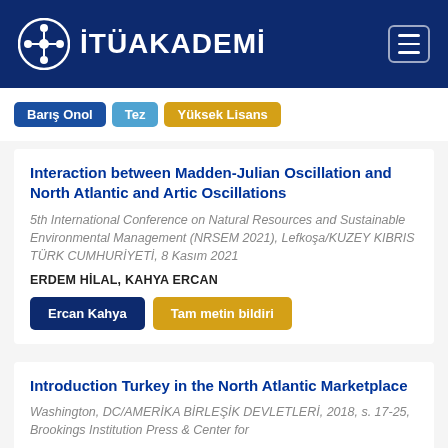İTÜAKADEMİ
Barış Onol | Tez | Yüksek Lisans
Interaction between Madden-Julian Oscillation and North Atlantic and Artic Oscillations
5th International Conference on Natural Resources and Sustainable Environmental Management (NRSEM 2021), Lefkoşa/KUZEY KIBRIS TÜRK CUMHURİYETİ, 8 Kasım 2021
ERDEM HİLAL, KAHYA ERCAN
Ercan Kahya | Tam metin bildiri
Introduction Turkey in the North Atlantic Marketplace
Washington, DC/AMERİKA BİRLEŞİK DEVLETLERİ, 2018, s. 17-25, Brookings Institution Press & Center for